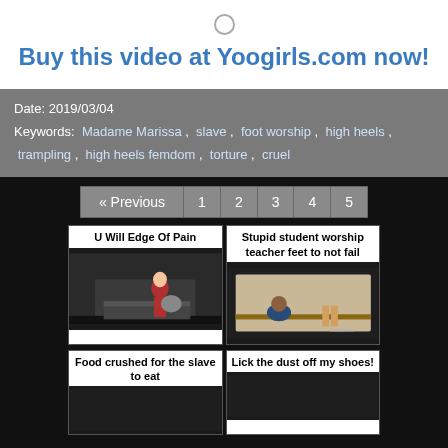Buy this video at Yoogirls.com now!
Date: 2019/03/04
Keywords: Madame Marissa , slave , foot worship , high heels , trampling , high heels femdom , torture , cruel
« Previous  1  2  3  4  5
[Figure (screenshot): Video thumbnail: U Will Edge Of Pain - woman in red outfit standing on a person on a bed]
[Figure (screenshot): Video thumbnail: Stupid student worship teacher feet to not fail - person bowing to teacher's feet at desk]
[Figure (screenshot): Video thumbnail: Food crushed for the slave to eat]
[Figure (screenshot): Video thumbnail: Lick the dust off my shoes!]